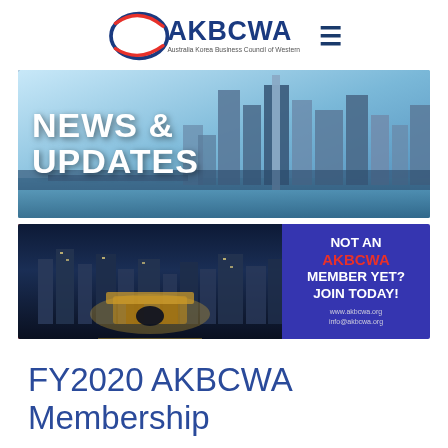[Figure (logo): AKBCWA logo — Australia Korea Business Council of Western Australia, with swoosh graphic and hamburger menu icon]
[Figure (photo): News & Updates banner with Perth city skyline and white bold text reading NEWS & UPDATES]
[Figure (photo): Membership banner with Korean cityscape on left and purple panel on right reading NOT AN AKBCWA MEMBER YET? JOIN TODAY! with website URLs]
FY2020 AKBCWA Membership